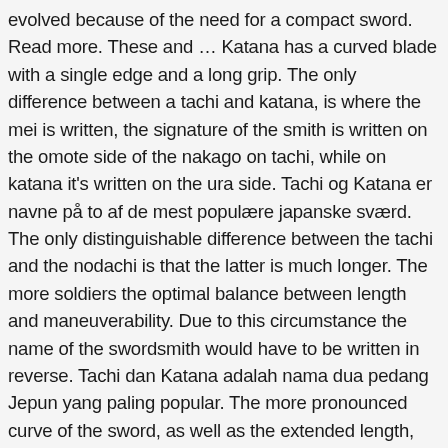evolved because of the need for a compact sword. Read more. These and … Katana has a curved blade with a single edge and a long grip. The only difference between a tachi and katana, is where the mei is written, the signature of the smith is written on the omote side of the nakago on tachi, while on katana it's written on the ura side. Tachi og Katana er navne på to af de mest populære japanske sværd. The only distinguishable difference between the tachi and the nodachi is that the latter is much longer. The more soldiers the optimal balance between length and maneuverability. Due to this circumstance the name of the swordsmith would have to be written in reverse. Tachi dan Katana adalah nama dua pedang Jepun yang paling popular. The more pronounced curve of the sword, as well as the extended length, offered great benefits when fighting on horseback. Tachi are generally a bit longer than uchigatana (although there are katana much longer than tachi, especially those made to be donated to a shrine or temple) and have a bit more curve to the blade, especially near the grip. The character for